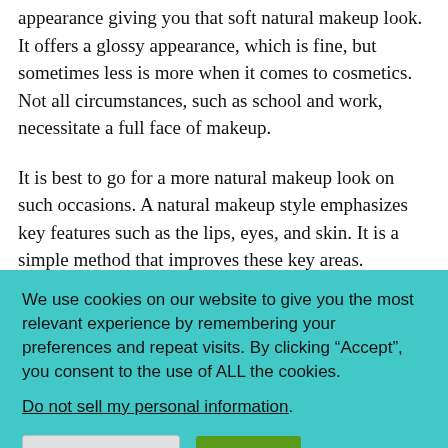appearance giving you that soft natural makeup look. It offers a glossy appearance, which is fine, but sometimes less is more when it comes to cosmetics. Not all circumstances, such as school and work, necessitate a full face of makeup.
It is best to go for a more natural makeup look on such occasions. A natural makeup style emphasizes key features such as the lips, eyes, and skin. It is a simple method that improves these key areas.
We use cookies on our website to give you the most relevant experience by remembering your preferences and repeat visits. By clicking “Accept”, you consent to the use of ALL the cookies.
Do not sell my personal information.